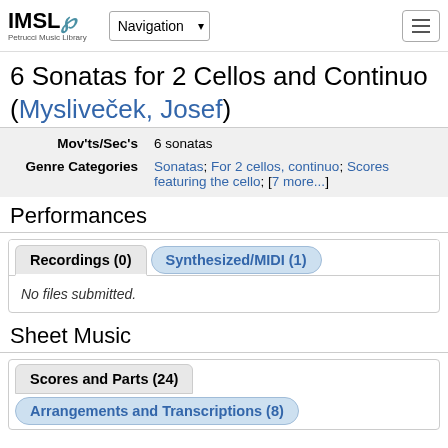IMSLP Petrucci Music Library — Navigation
6 Sonatas for 2 Cellos and Continuo (Mysliveček, Josef)
| Field | Value |
| --- | --- |
| Mov'ts/Sec's | 6 sonatas |
| Genre Categories | Sonatas; For 2 cellos, continuo; Scores featuring the cello; [7 more...] |
Performances
Recordings (0) | Synthesized/MIDI (1)
No files submitted.
Sheet Music
Scores and Parts (24)
Arrangements and Transcriptions (8)